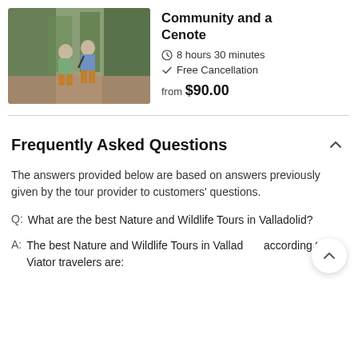[Figure (photo): Two people standing on a forest trail wearing casual clothes in earthy tones]
Community and a Cenote
8 hours 30 minutes
Free Cancellation
from $90.00
Frequently Asked Questions
The answers provided below are based on answers previously given by the tour provider to customers' questions.
Q:  What are the best Nature and Wildlife Tours in Valladolid?
A:  The best Nature and Wildlife Tours in Valladolid according to Viator travelers are: